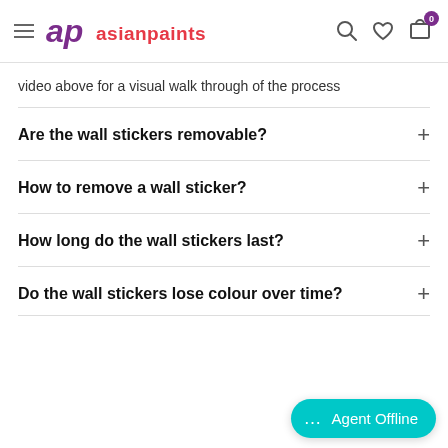Asian Paints - ap logo, hamburger menu, search, wishlist, cart (0)
video above for a visual walk through of the process
Are the wall stickers removable?
How to remove a wall sticker?
How long do the wall stickers last?
Do the wall stickers lose colour over time?